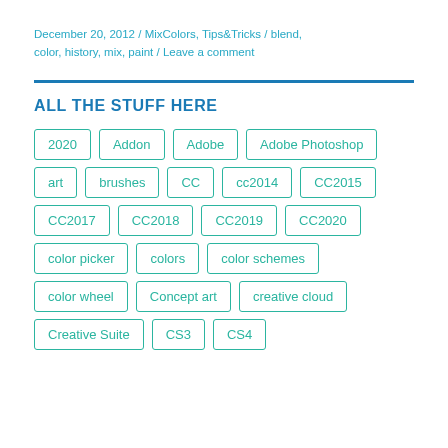December 20, 2012 / MixColors, Tips&Tricks / blend, color, history, mix, paint / Leave a comment
ALL THE STUFF HERE
2020
Addon
Adobe
Adobe Photoshop
art
brushes
CC
cc2014
CC2015
CC2017
CC2018
CC2019
CC2020
color picker
colors
color schemes
color wheel
Concept art
creative cloud
Creative Suite
CS3
CS4